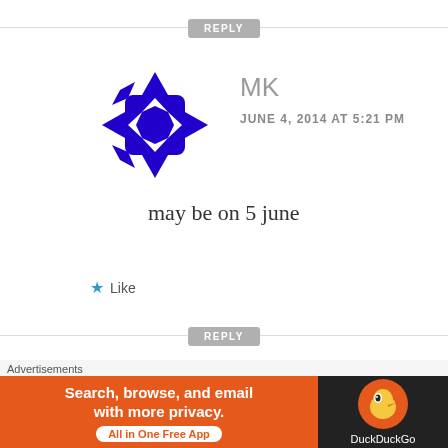[Figure (other): REPLY button with horizontal lines on each side]
[Figure (logo): Blue geometric snowflake/cross avatar for user MK]
MK
JUNE 4, 2014 AT 5:21 PM
may be on 5 june
★ Like
[Figure (other): REPLY button with horizontal lines on each side]
[Figure (logo): Teal geometric snowflake/cross avatar for user Amitsinh Rajput]
Amitsinh Rajput
JUNE 4, 2014 AT 7:47 PM
Advertisements
[Figure (screenshot): DuckDuckGo advertisement banner: orange section with 'Search, browse, and email with more privacy. All in One Free App' and dark section with DuckDuckGo logo]